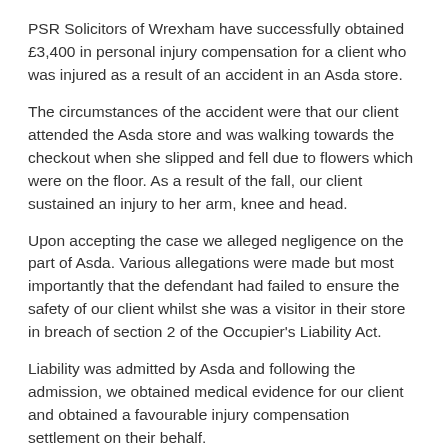PSR Solicitors of Wrexham have successfully obtained £3,400 in personal injury compensation for a client who was injured as a result of an accident in an Asda store.
The circumstances of the accident were that our client attended the Asda store and was walking towards the checkout when she slipped and fell due to flowers which were on the floor. As a result of the fall, our client sustained an injury to her arm, knee and head.
Upon accepting the case we alleged negligence on the part of Asda. Various allegations were made but most importantly that the defendant had failed to ensure the safety of our client whilst she was a visitor in their store in breach of section 2 of the Occupier's Liability Act.
Liability was admitted by Asda and following the admission, we obtained medical evidence for our client and obtained a favourable injury compensation settlement on their behalf.
If you are looking to claim compensation for a personal injury after an accident in...